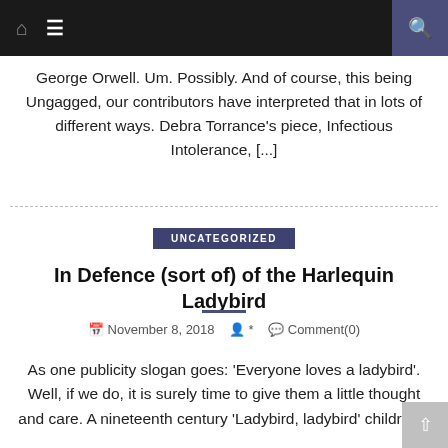Nav bar with home icon, hamburger menu, and search icon
George Orwell. Um. Possibly. And of course, this being Ungagged, our contributors have interpreted that in lots of different ways. Debra Torrance's piece, Infectious Intolerance, [...]
UNCATEGORIZED
In Defence (sort of) of the Harlequin Ladybird
November 8, 2018  *  Comment(0)
As one publicity slogan goes: 'Everyone loves a ladybird'. Well, if we do, it is surely time to give them a little thought and care. A nineteenth century 'Ladybird, ladybird' children's